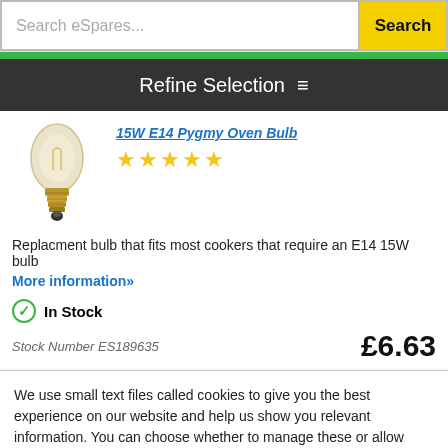Search eSpares...  Search
Refine Selection
[Figure (photo): Small E14 pygmy oven bulb with gold base]
15W E14 Pygmy Oven Bulb
★★★★★
Replacment bulb that fits most cookers that require an E14 15W bulb
More information»
In Stock
Stock Number ES189635   £6.63
We use small text files called cookies to give you the best experience on our website and help us show you relevant information. You can choose whether to manage these or allow them all. View Cookie Policy
Manage Cookies
Allow All